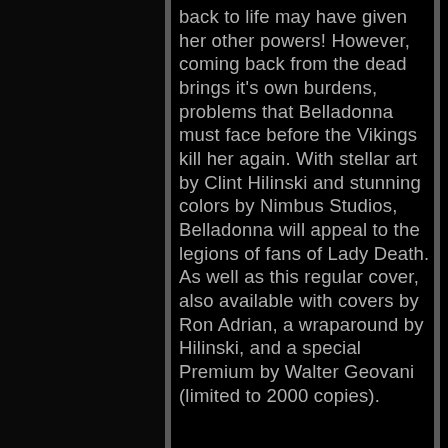back to life may have given her other powers! However, coming back from the dead brings it's own burdens, problems that Belladonna must face before the Vikings kill her again. With stellar art by Clint Hilinski and stunning colors by Nimbus Studios, Belladonna will appeal to the legions of fans of Lady Death. As well as this regular cover, also available with covers by Ron Adrian, a wraparound by Hilinski, and a special Premium by Walter Geovani (limited to 2000 copies).